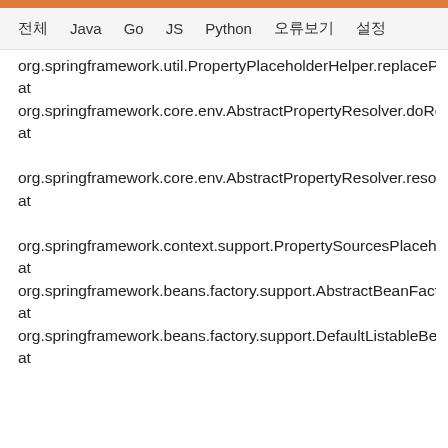전체  Java  Go  JS  Python  오류보기  설정
org.springframework.util.PropertyPlaceholderHelper.replacePlaceholders(PropertyPlaceholderHelper.java:124) at org.springframework.core.env.AbstractPropertyResolver.doResolvePlaceholders(AbstractPropertyResolver.java:239) at org.springframework.core.env.AbstractPropertyResolver.resolveRequiredPlaceholders(AbstractPropertyResolver.java:210) at org.springframework.context.support.PropertySourcesPlaceholderConfigurer.lambda$processProperties$0(PropertySourcesPlaceholderConfigurer.java:175) at org.springframework.beans.factory.support.AbstractBeanFactory.resolveEmbeddedValue(AbstractBeanFactory.java:918) at org.springframework.beans.factory.support.DefaultListableBeanFactory.doResolveDependency(DefaultListableBeanFactory.java:1248) at